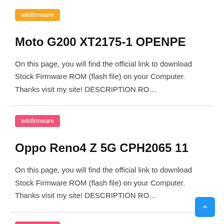wikifirmware
Moto G200 XT2175-1 OPENPE
On this page, you will find the official link to download Stock Firmware ROM (flash file) on your Computer. Thanks visit my site! DESCRIPTION RO…
wikifirmware
Oppo Reno4 Z 5G CPH2065 11
On this page, you will find the official link to download Stock Firmware ROM (flash file) on your Computer. Thanks visit my site! DESCRIPTION RO…
wikifirmware